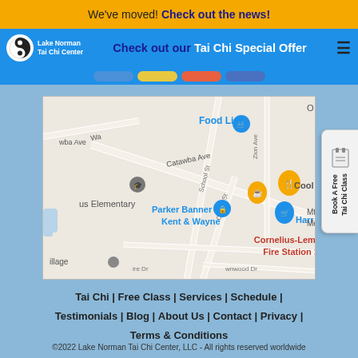We've moved! Check out the news!
Check out our Tai Chi Special Offer
[Figure (map): Google Maps screenshot showing street map of Cornelius area with landmarks: Food Lion, Parker Banner Kent & Wayne, Cornelius-Lemley Fire Station 1, Cool R (partial), Harr (partial), us Elementary, along streets Catawba Ave, School St, Center St, Zion Ave, and others.]
Tai Chi | Free Class | Services | Schedule | Testimonials | Blog | About Us | Contact | Privacy | Terms & Conditions
©2022 Lake Norman Tai Chi Center, LLC - All rights reserved worldwide